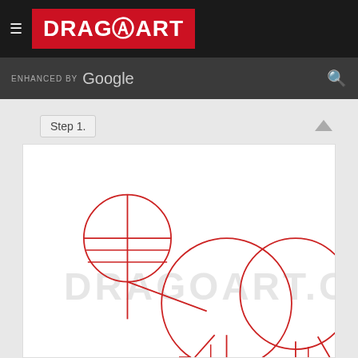DRAGOART
ENHANCED BY Google
Step 1.
[Figure (illustration): Step 1 drawing guide showing basic geometric shapes in red outline: a small circle with crosshairs at top left (head guide), two large overlapping circles in the center-right area (body guides), connecting lines for neck and legs, and partial leg lines at the bottom. Watermark text DRAGOART.COM visible in the background.]